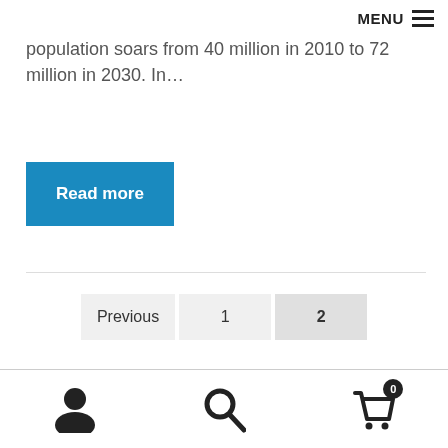MENU
population soars from 40 million in 2010 to 72 million in 2030. In…
Read more
Previous 1 2
user icon, search icon, cart icon with 0